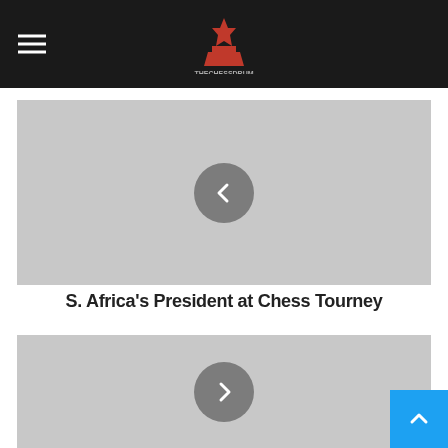thechessdrum.net logo and navigation
[Figure (screenshot): Gray placeholder image card with a left-arrow navigation button (chevron left) in the center]
S. Africa's President at Chess Tourney
[Figure (screenshot): Gray placeholder image card with a right-arrow navigation button (chevron right) in the center]